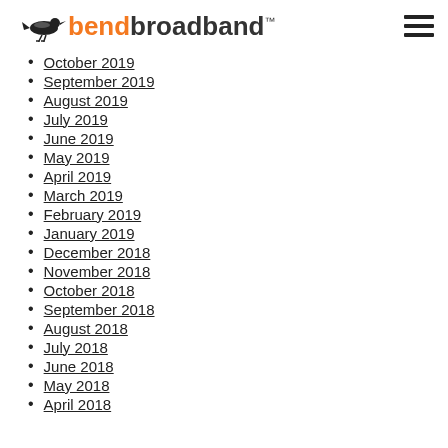[Figure (logo): BendBroadband logo with bird icon and orange 'bend' text followed by dark 'broadband' text with TM mark, and hamburger menu icon on the right]
October 2019
September 2019
August 2019
July 2019
June 2019
May 2019
April 2019
March 2019
February 2019
January 2019
December 2018
November 2018
October 2018
September 2018
August 2018
July 2018
June 2018
May 2018
April 2018